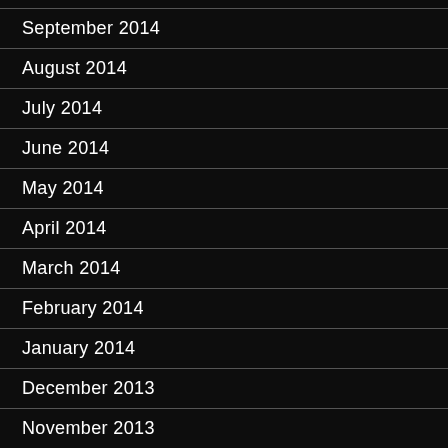September 2014
August 2014
July 2014
June 2014
May 2014
April 2014
March 2014
February 2014
January 2014
December 2013
November 2013